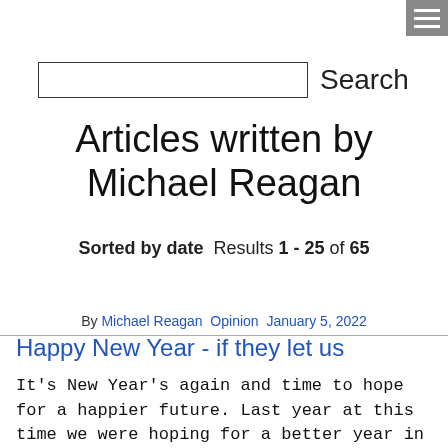[Figure (other): Hamburger menu icon (three horizontal white lines on gray background) in top-right corner]
Search
Articles written by Michael Reagan
Sorted by date  Results 1 - 25 of 65
By Michael Reagan  Opinion  January 5, 2022
Happy New Year - if they let us
It's New Year's again and time to hope for a happier future. Last year at this time we were hoping for a better year in 2021, but that sure as heck didn't work out, did it? Forget the damage...